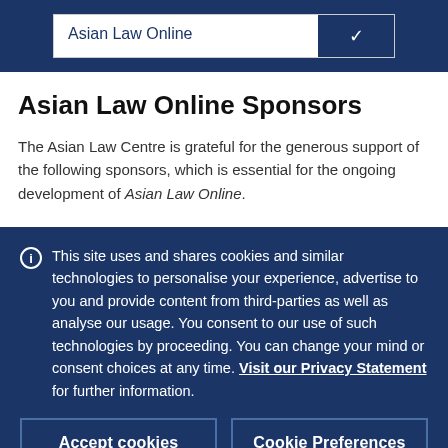Asian Law Online
Asian Law Online Sponsors
The Asian Law Centre is grateful for the generous support of the following sponsors, which is essential for the ongoing development of Asian Law Online.
This site uses and shares cookies and similar technologies to personalise your experience, advertise to you and provide content from third-parties as well as analyse our usage. You consent to our use of such technologies by proceeding. You can change your mind or consent choices at any time. Visit our Privacy Statement for further information.
Accept cookies
Cookie Preferences